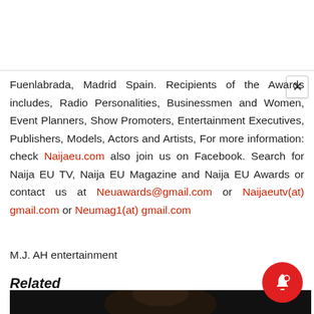Fuenlabrada, Madrid Spain. Recipients of the Awards includes, Radio Personalities, Businessmen and Women, Event Planners, Show Promoters, Entertainment Executives, Publishers, Models, Actors and Artists, For more information: check Naijaeu.com also join us on Facebook. Search for Naija EU TV, Naija EU Magazine and Naija EU Awards or contact us at Neuawards@gmail.com or Naijaeutv(at) gmail.com or Neumag1(at) gmail.com
M.J. AH entertainment
Related
[Figure (photo): Portrait photo strip at the bottom of the page, partially visible]